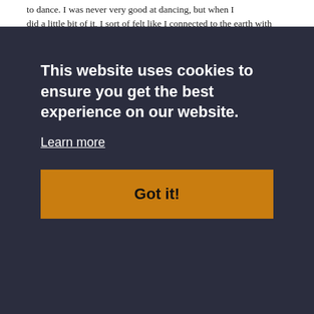to dance. I was never very good at dancing, but when I did a little bit of it, I sort of felt like I connected to the earth with
This website uses cookies to ensure you get the best experience on our website.
Learn more
Got it!
about that, that is artificial, it falls apart. If you feel that you can say something, and the other person resonates with what I think we are doing here also, it’s like that, then you’re beginning to feel like you’re entering into a common space. And that is just another form of evolutionary love.

Dr. Marc Gafni: Oh, that’s gorgeous. So you don’t disappear into the one, you appear as the one. That’s the location of the paradox that we’re pointing to here, and the reason I keep coming back to it, Ervin, is because I’ve found, and I don’t know what your experience is, is that the reason people reject the notion of oneness, because they’re afraid they’re going to disappear. There’s